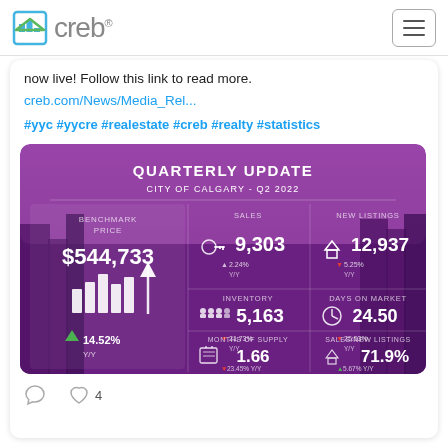creb®
now live! Follow this link to read more.
creb.com/News/Media_Rel...
#yyc #yycre #realestate #creb #realty #statistics
[Figure (infographic): QUARTERLY UPDATE CITY OF CALGARY - Q2 2022. Benchmark Price: $544,733 (up 14.52% Y/Y). Sales: 9,303 (up 2.24% Y/Y). New Listings: 12,937 (down 5.25% Y/Y). Inventory: 5,163 (down 21.73% Y/Y). Days on Market: 24.50 (down 25.53% Y/Y). Months of Supply: 1.66 (down 23.45% Y/Y). Sales/New Listings: 71.9% (up 5.67% Y/Y).]
❤ 4